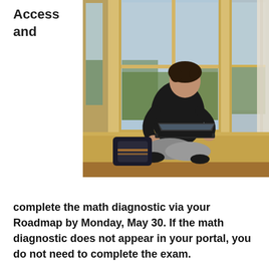Access
and
[Figure (photo): A young male student sitting cross-legged on a wooden window ledge in a room with large windows and wooden walls, working on a laptop. A bag is placed beside him.]
complete the math diagnostic via your Roadmap by Monday, May 30. If the math diagnostic does not appear in your portal, you do not need to complete the exam.